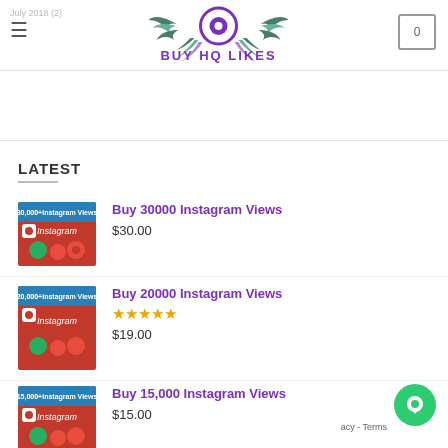Buy HQ Likes
LATEST
Buy 30000 Instagram Views - $30.00
Buy 20000 Instagram Views - $19.00
Buy 15,000 Instagram Views - $15.00